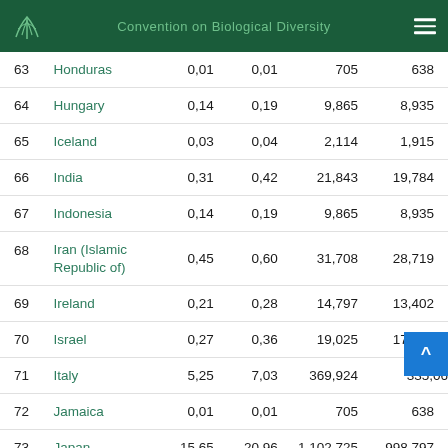Convention on Biological Diversity
| # | Country | Col3 | Col4 | Col5 | Col6 |
| --- | --- | --- | --- | --- | --- |
| 63 | Honduras | 0,01 | 0,01 | 705 | 638 |
| 64 | Hungary | 0,14 | 0,19 | 9,865 | 8,935 |
| 65 | Iceland | 0,03 | 0,04 | 2,114 | 1,915 |
| 66 | India | 0,31 | 0,42 | 21,843 | 19,784 |
| 67 | Indonesia | 0,14 | 0,19 | 9,865 | 8,935 |
| 68 | Iran (Islamic Republic of) | 0,45 | 0,60 | 31,708 | 28,719 |
| 69 | Ireland | 0,21 | 0,28 | 14,797 | 13,402 |
| 70 | Israel | 0,27 | 0,36 | 19,025 | 17,232 |
| 71 | Italy | 5,25 | 7,03 | 369,924 | 335,06 |
| 72 | Jamaica | 0,01 | 0,01 | 705 | 638 |
| 73 | Japan | 15,65 | 20,96 | 1,102,725 | 998,797 |
| 74 | Jordan | 0,01 | 0,01 | 705 | 638 |